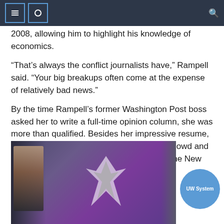2008, allowing him to highlight his knowledge of economics.
“That’s always the conflict journalists have,” Rampell said. “Your big breakups often come at the expense of relatively bad news.”
By the time Rampell’s former Washington Post boss asked her to write a full-time opinion column, she was more than qualified. Besides her impressive resume, Rampell has been influenced by Maureen Dowd and Guillaume Safirein the opinion columns of the New York Times.
[Figure (photo): A person at a rally holding or standing near a large purple banner with a bird/eagle emblem on it.]
UW System